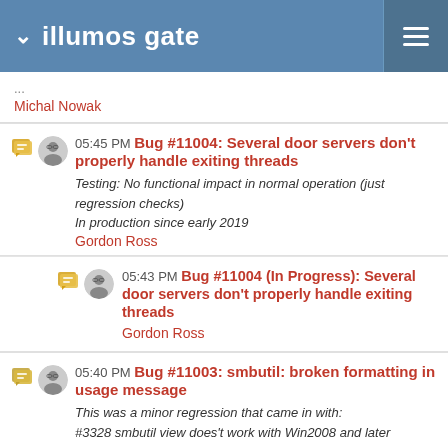illumos gate
...
Michal Nowak
05:45 PM Bug #11004: Several door servers don't properly handle exiting threads
Testing: No functional impact in normal operation (just regression checks)
In production since early 2019
Gordon Ross
05:43 PM Bug #11004 (In Progress): Several door servers don't properly handle exiting threads
Gordon Ross
05:40 PM Bug #11003: smbutil: broken formatting in usage message
This was a minor regression that came in with:
#3328 smbutil view does not work with Win2008 and later